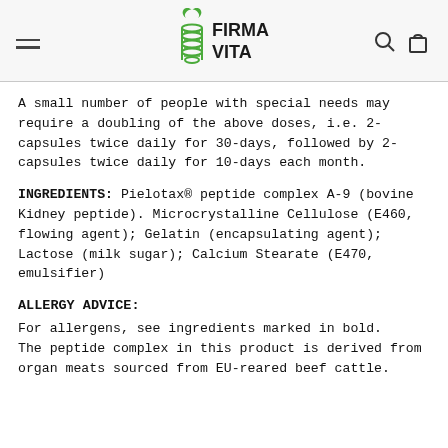FIRMA VITA — navigation header with logo, menu icon, search and cart icons
A small number of people with special needs may require a doubling of the above doses, i.e. 2-capsules twice daily for 30-days, followed by 2-capsules twice daily for 10-days each month.
INGREDIENTS: Pielotax® peptide complex A-9 (bovine Kidney peptide). Microcrystalline Cellulose (E460, flowing agent); Gelatin (encapsulating agent); Lactose (milk sugar); Calcium Stearate (E470, emulsifier)
ALLERGY ADVICE:
For allergens, see ingredients marked in bold.
The peptide complex in this product is derived from organ meats sourced from EU-reared beef cattle.